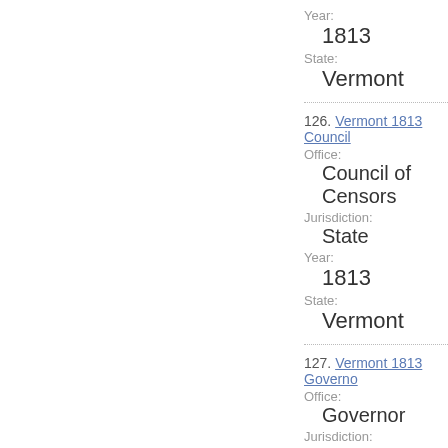Year:
1813
State:
Vermont
126. Vermont 1813 Council
Office:
Council of Censors
Jurisdiction:
State
Year:
1813
State:
Vermont
127. Vermont 1813 Governo
Office:
Governor
Jurisdiction: